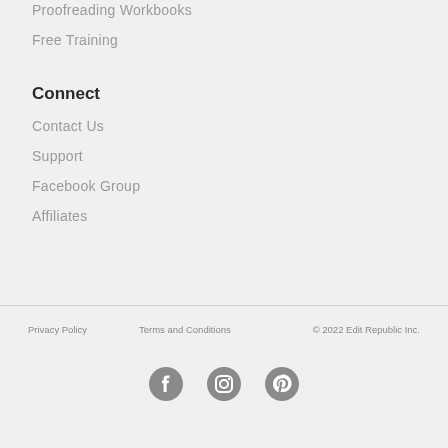Proofreading Workbooks
Free Training
Connect
Contact Us
Support
Facebook Group
Affiliates
Privacy Policy     Terms and Conditions     © 2022 Edit Republic Inc.